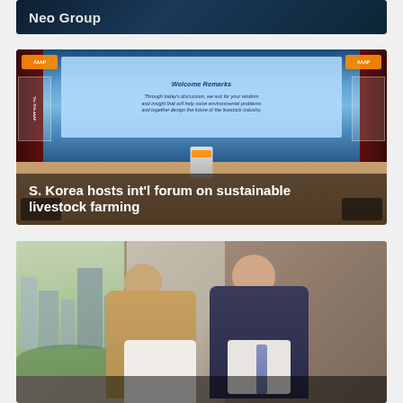[Figure (photo): Dark blue/teal banner with 'Neo Group' title text]
[Figure (photo): Conference hall with presenter at podium, large screen showing Welcome Remarks slide about environmental problems and livestock industry]
S. Korea hosts int'l forum on sustainable livestock farming
[Figure (photo): Two men (one Asian in tan/beige blazer, one older Western man in dark suit) shaking hands or posing together in front of window with city view and wood-paneled wall]
Samsung...